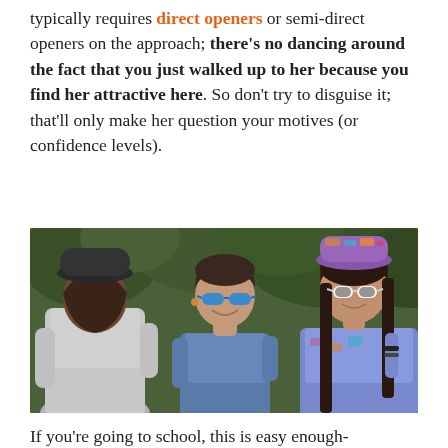typically requires direct openers or semi-direct openers on the approach; there's no dancing around the fact that you just walked up to her because you find her attractive here. So don't try to disguise it; that'll only make her question your motives (or confidence levels).
[Figure (photo): Three young women socializing outdoors. One seen from behind wearing a grey jacket and dark hat, one in the center with short hair wearing blue sunglasses and smiling, one on the right with long dark hair wearing a patterned cap and white sunglasses.]
If you're going to school, this is easy enough-